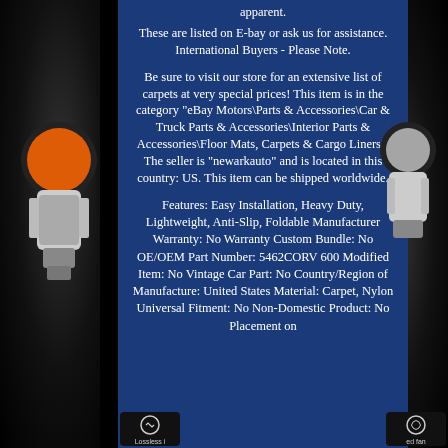apparent.
These are listed on E-bay or ask us for assistance. International Buyers - Please Note.
Be sure to visit our store for an extensive list of carpets at very special prices! This item is in the category "eBay Motors\Parts & Accessories\Car & Truck Parts & Accessories\Interior Parts & Accessories\Floor Mats, Carpets & Cargo Liners". The seller is "newarkauto" and is located in this country: US. This item can be shipped worldwide.
Features: Easy Installation, Heavy Duty, Lightweight, Anti-Slip, Foldable Manufacturer Warranty: No Warranty Custom Bundle: No OE/OEM Part Number: 5462CORV 600 Modified Item: No Vintage Car Part: No Country/Region of Manufacture: United States Material: Carpet, Nylon Universal Fitment: No Non-Domestic Product: No Placement on
5